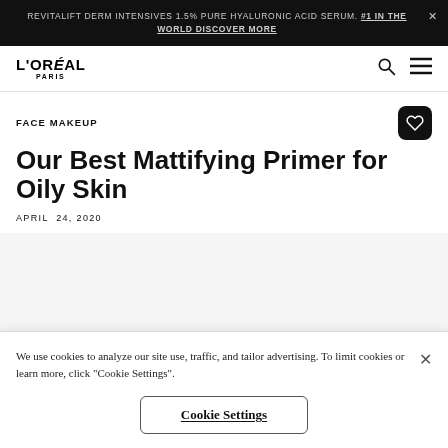REVITALIFT DERM INTENSIVES 1.5% PURE HYALURONIC ACID SERUM. #1 IN THE WORLD DISCOVER MORE
[Figure (logo): L'OREAL PARIS logo in black text]
FACE MAKEUP
Our Best Mattifying Primer for Oily Skin
APRIL 24, 2020
We use cookies to analyze our site use, traffic, and tailor advertising. To limit cookies or learn more, click "Cookie Settings".
Cookie Settings